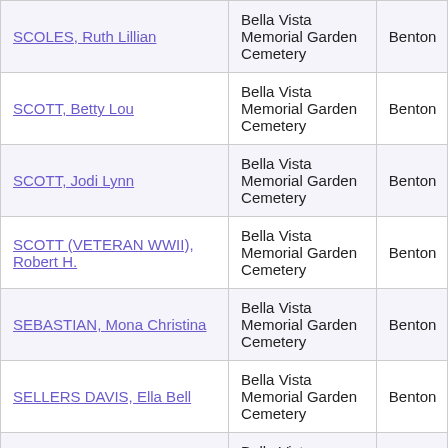| Name | Cemetery | County |
| --- | --- | --- |
| SCOLES, Ruth Lillian | Bella Vista Memorial Garden Cemetery | Benton |
| SCOTT, Betty Lou | Bella Vista Memorial Garden Cemetery | Benton |
| SCOTT, Jodi Lynn | Bella Vista Memorial Garden Cemetery | Benton |
| SCOTT (VETERAN WWII), Robert H. | Bella Vista Memorial Garden Cemetery | Benton |
| SEBASTIAN, Mona Christina | Bella Vista Memorial Garden Cemetery | Benton |
| SELLERS DAVIS, Ella Bell | Bella Vista Memorial Garden Cemetery | Benton |
| SELLEY, Archie Edward | Bella Vista Memorial Garden Cemetery | Benton |
| SEMLER MATTHIS, Virginia Mae | Bella Vista Memorial Garden Cemetery | Benton |
| SENTERS CLARK, Anna C | Bella Vista Memorial Garden Cemetery | Benton |